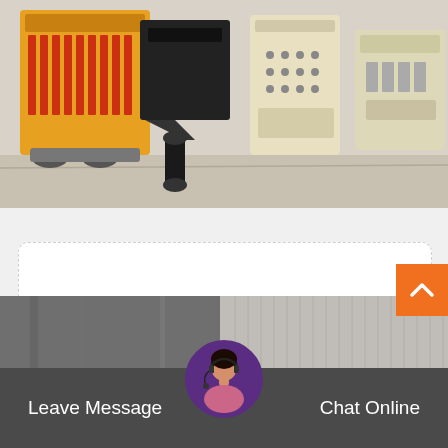[Figure (photo): Photograph of yellow and beige industrial stone crusher machinery on a factory floor]
stone crusher manufacturers in i…
suppliers of stone crusher in indonesia. Stone Crusher Mobile Manufacturers Indonesia Stone crusher mobile…
[Figure (photo): Partial photo of industrial machinery/building in the bottom strip behind the bottom bar]
Leave Message   Chat Online